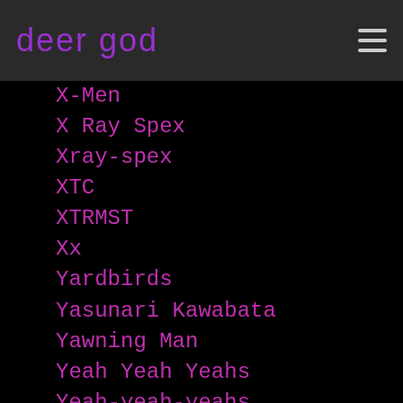deer god
X-Men
X Ray Spex
Xray-spex
XTC
XTRMST
Xx
Yardbirds
Yasunari Kawabata
Yawning Man
Yeah Yeah Yeahs
Yeah-yeah-yeahs
Yeasayer
Yelawolf
Yelle
YEONMI PARK
Yes-minister
Yg